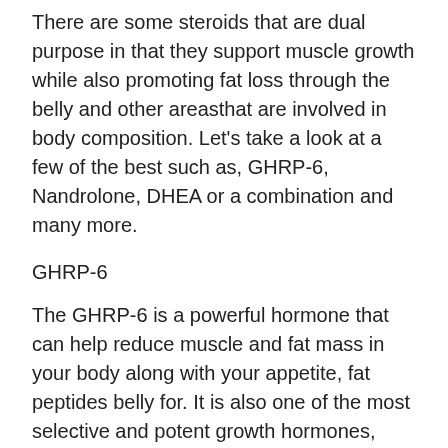There are some steroids that are dual purpose in that they support muscle growth while also promoting fat loss through the belly and other areasthat are involved in body composition. Let's take a look at a few of the best such as, GHRP-6, Nandrolone, DHEA or a combination and many more.
GHRP-6
The GHRP-6 is a powerful hormone that can help reduce muscle and fat mass in your body along with your appetite, fat peptides belly for. It is also one of the most selective and potent growth hormones, therefore allowing for a more advanced and efficient fat loss program. This hormone is a precursor of a protein called GHRH (Growth hormone releasing hormone) that works as a precursor of all muscle-building hormones. Since it blocks the formation of new muscle cells in order to maximize muscle growth, it's